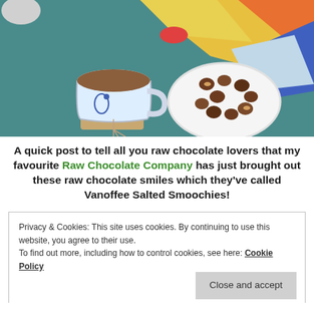[Figure (photo): Photo of a cup of tea on a coaster and a white plate with chocolate candies on a teal table, with a colorful patterned cloth in the background]
A quick post to tell all you raw chocolate lovers that my favourite Raw Chocolate Company has just brought out these raw chocolate smiles which they've called Vanoffee Salted Smoochies!
Privacy & Cookies: This site uses cookies. By continuing to use this website, you agree to their use.
To find out more, including how to control cookies, see here: Cookie Policy
Close and accept